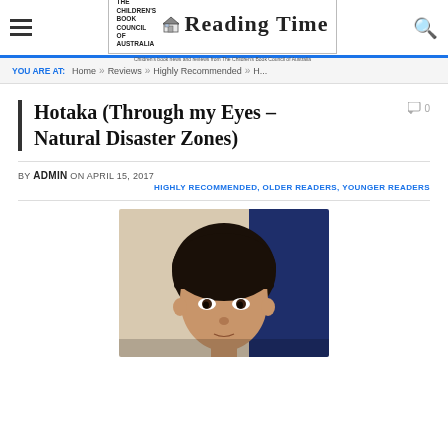THE CHILDREN'S BOOK COUNCIL OF AUSTRALIA — Reading Time — Children's book news and reviews from The Children's Book Council of Australia
YOU ARE AT: Home » Reviews » Highly Recommended » H...
Hotaka (Through my Eyes – Natural Disaster Zones)
0 comments
BY ADMIN ON APRIL 15, 2017
HIGHLY RECOMMENDED, OLDER READERS, YOUNGER READERS
[Figure (photo): Close-up photo of a young Asian child with dark hair and a bowl cut, looking slightly downward. Background shows a light-coloured wall on the left and a dark blue section on the right.]